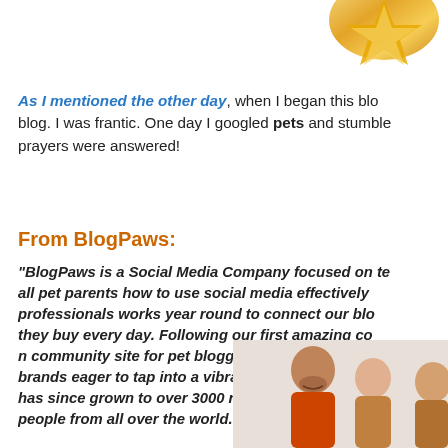[Figure (photo): Partial view of a gold award/trophy graphic at top right corner]
As I mentioned the other day, when I began this blog. I was frantic. One day I googled pets and stumbled prayers were answered!
From BlogPaws:
"BlogPaws is a Social Media Company focused on teaching all pet parents how to use social media effectively. Our professionals works year round to connect our bloggers with what they buy every day. Following our first amazing conference, we created a community site for pet bloggers, pet enthusiasts, and pet brands eager to tap into a vibrant, vocal community. BlogPaws has since grown to over 3000 registered (approved) people from all over the world."
[Figure (photo): Photo of a man and people at the bottom right of the page]